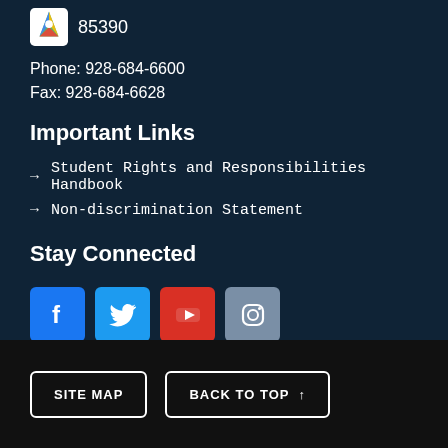85390
Phone: 928-684-6600
Fax: 928-684-6628
Important Links
Student Rights and Responsibilities Handbook
Non-discrimination Statement
Stay Connected
[Figure (other): Social media icons: Facebook, Twitter, YouTube, Instagram]
SITE MAP | BACK TO TOP ↑